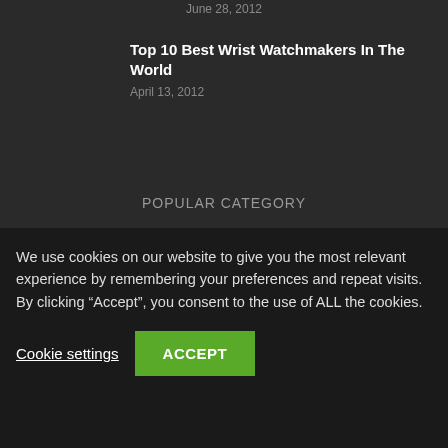June 28, 2012
Top 10 Best Wrist Watchmakers In The World
April 13, 2012
POPULAR CATEGORY
Latest News 5379
Science & Technology [number partially visible]
We use cookies on our website to give you the most relevant experience by remembering your preferences and repeat visits. By clicking “Accept”, you consent to the use of ALL the cookies.
Cookie settings
ACCEPT